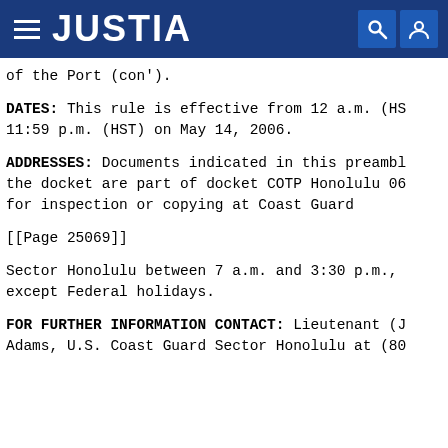JUSTIA
of the Port (con').
DATES: This rule is effective from 12 a.m. (HS 11:59 p.m. (HST) on May 14, 2006.
ADDRESSES: Documents indicated in this preambl the docket are part of docket COTP Honolulu 06 for inspection or copying at Coast Guard
[[Page 25069]]
Sector Honolulu between 7 a.m. and 3:30 p.m., except Federal holidays.
FOR FURTHER INFORMATION CONTACT: Lieutenant (J Adams, U.S. Coast Guard Sector Honolulu at (80